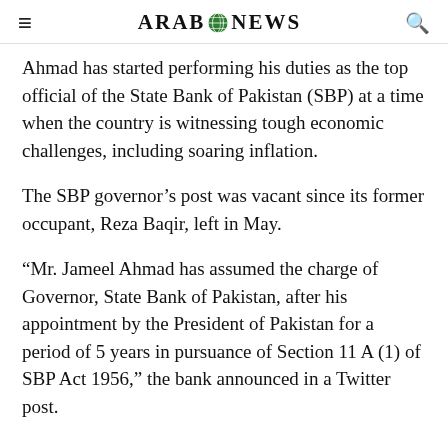ARAB NEWS
Ahmad has started performing his duties as the top official of the State Bank of Pakistan (SBP) at a time when the country is witnessing tough economic challenges, including soaring inflation.
The SBP governor’s post was vacant since its former occupant, Reza Baqir, left in May.
“Mr. Jameel Ahmad has assumed the charge of Governor, State Bank of Pakistan, after his appointment by the President of Pakistan for a period of 5 years in pursuance of Section 11 A (1) of SBP Act 1956,” the bank announced in a Twitter post.